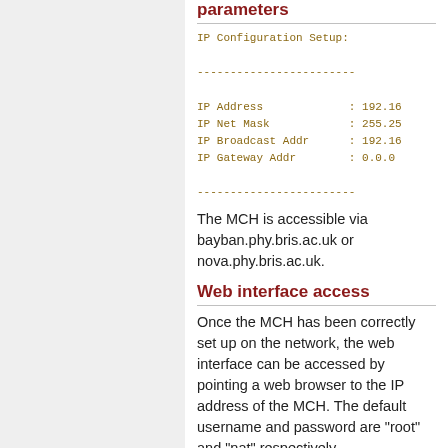parameters
IP Configuration Setup:
------------------------
IP Address             : 192.16
IP Net Mask            : 255.25
IP Broadcast Addr      : 192.16
IP Gateway Addr        : 0.0.0
------------------------
The MCH is accessible via bayban.phy.bris.ac.uk or nova.phy.bris.ac.uk.
Web interface access
Once the MCH has been correctly set up on the network, the web interface can be accessed by pointing a web browser to the IP address of the MCH. The default username and password are "root" and "nat" respectively.